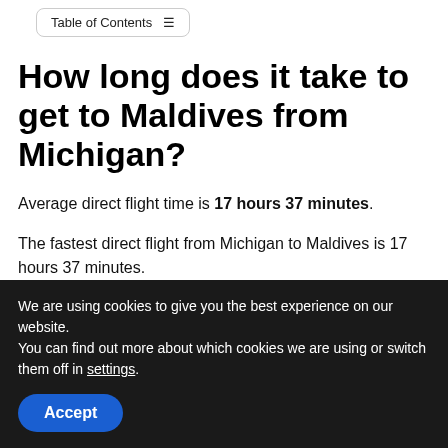Table of Contents
How long does it take to get to Maldives from Michigan?
Average direct flight time is 17 hours 37 minutes.
The fastest direct flight from Michigan to Maldives is 17 hours 37 minutes.
How far is Maldives from
We are using cookies to give you the best experience on our website.
You can find out more about which cookies we are using or switch them off in settings.
Accept